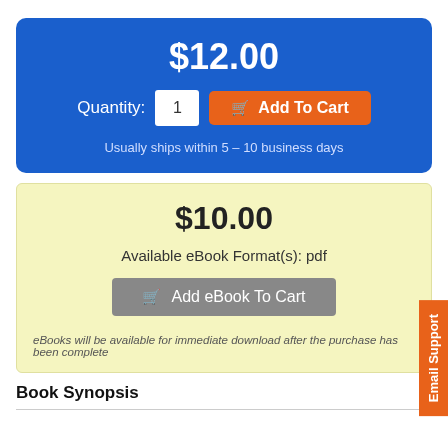$12.00
Quantity: 1  Add To Cart
Usually ships within 5 – 10 business days
$10.00
Available eBook Format(s): pdf
Add eBook To Cart
eBooks will be available for immediate download after the purchase has been complete
Email Support
Book Synopsis